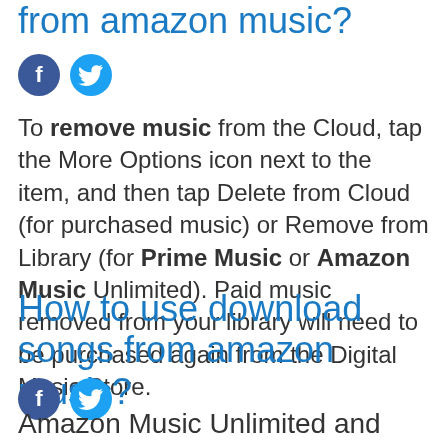from amazon music?
[Figure (other): Facebook and Twitter social share icons (top)]
To remove music from the Cloud, tap the More Options icon next to the item, and then tap Delete from Cloud (for purchased music) or Remove from Library (for Prime Music or Amazon Music Unlimited). Paid music removed from your library will need to be purchased again from the Digital Music Store.
How to use download songs from amazon music?
[Figure (other): Facebook and Twitter social share icons (bottom)]
Amazon Music Unlimited and Prime Music are among the